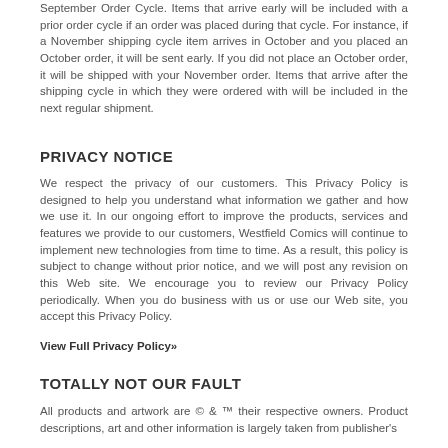September Order Cycle. Items that arrive early will be included with a prior order cycle if an order was placed during that cycle. For instance, if a November shipping cycle item arrives in October and you placed an October order, it will be sent early. If you did not place an October order, it will be shipped with your November order. Items that arrive after the shipping cycle in which they were ordered with will be included in the next regular shipment.
PRIVACY NOTICE
We respect the privacy of our customers. This Privacy Policy is designed to help you understand what information we gather and how we use it. In our ongoing effort to improve the products, services and features we provide to our customers, Westfield Comics will continue to implement new technologies from time to time. As a result, this policy is subject to change without prior notice, and we will post any revision on this Web site. We encourage you to review our Privacy Policy periodically. When you do business with us or use our Web site, you accept this Privacy Policy.
View Full Privacy Policy»
TOTALLY NOT OUR FAULT
All products and artwork are © & ™ their respective owners. Product descriptions, art and other information is largely taken from publisher's